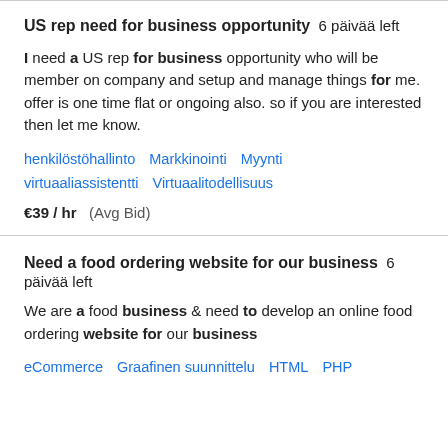US rep need for business opportunity  6 päivää left
I need a US rep for business opportunity who will be member on company and setup and manage things for me. offer is one time flat or ongoing also. so if you are interested then let me know.
henkilöstöhallinto   Markkinointi   Myynti   virtuaaliassistentti   Virtuaalitodellisuus
€39 / hr   (Avg Bid)
Need a food ordering website for our business  6 päivää left
We are a food business & need to develop an online food ordering website for our business
eCommerce   Graafinen suunnittelu   HTML   PHP